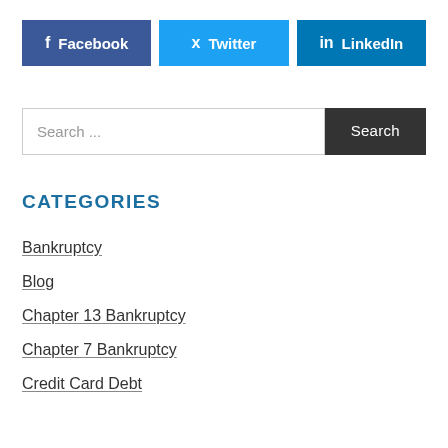[Figure (infographic): Social media share buttons: Facebook (dark blue), Twitter (light blue), LinkedIn (blue)]
Search ...
CATEGORIES
Bankruptcy
Blog
Chapter 13 Bankruptcy
Chapter 7 Bankruptcy
Credit Card Debt